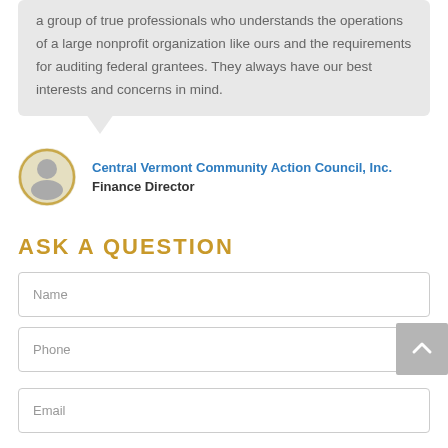a group of true professionals who understands the operations of a large nonprofit organization like ours and the requirements for auditing federal grantees. They always have our best interests and concerns in mind.
Central Vermont Community Action Council, Inc.
Finance Director
ASK A QUESTION
Name
Phone
Email